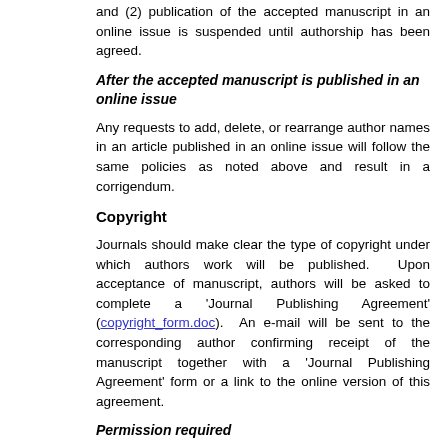and (2) publication of the accepted manuscript in an online issue is suspended until authorship has been agreed.
After the accepted manuscript is published in an online issue
Any requests to add, delete, or rearrange author names in an article published in an online issue will follow the same policies as noted above and result in a corrigendum.
Copyright
Journals should make clear the type of copyright under which authors work will be published. Upon acceptance of manuscript, authors will be asked to complete a 'Journal Publishing Agreement' (copyright_form.doc). An e-mail will be sent to the corresponding author confirming receipt of the manuscript together with a 'Journal Publishing Agreement' form or a link to the online version of this agreement.
Permission required
Permission should be sought from the publisher to reproduce any substantial part of a copyrighted work that depends on both the significance of the material and the quantity of material used. This includes any text, illustrations, charts, tables, photographs, or other material from previously published